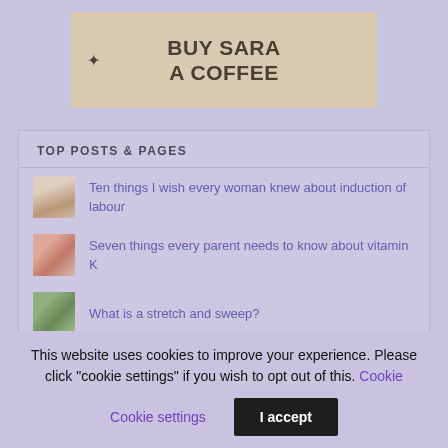[Figure (illustration): Buy Sara A Coffee banner with tan/beige background, dark brown bold text reading 'BUY SARA A COFFEE' with a sparkle/star icon on the left]
TOP POSTS & PAGES
[Figure (photo): Small thumbnail of a pregnant woman silhouette]
Ten things I wish every woman knew about induction of labour
[Figure (photo): Small thumbnail image related to vitamin K with text overlay]
Seven things every parent needs to know about vitamin K
[Figure (photo): Small thumbnail image related to stretch and sweep]
What is a stretch and sweep?
This website uses cookies to improve your experience. Please click "cookie settings" if you wish to opt out of this. Cookie settings I accept